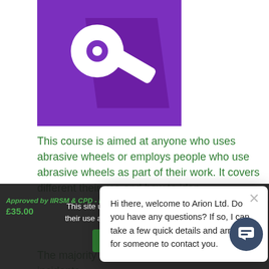[Figure (illustration): Purple square icon with white abrasive wheel / angle grinder graphic and diagonal shadow]
This course is aimed at anyone who uses abrasive wheels or employs people who use abrasive wheels as part of their work. It covers different t... their use and how to iden...
The majority of incidents ... been a consequence of i... incorrect operation or en...
Approved by IIRSM & CPD - Duration 100 mins* -
£35.00
This site uses cookies. B... their use as set out in our Cookie Policy.
[Figure (screenshot): Chat popup: Hi there, welcome to Arion Ltd. Do you have any questions? If so, I can take a few quick details and arrange for someone to contact you.]